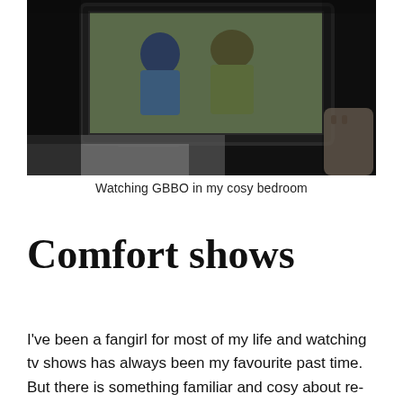[Figure (photo): A dark bedroom scene showing a TV screen displaying two people (GBBO baking show), with a bed visible in the foreground and a hand holding a remote control on the right.]
Watching GBBO in my cosy bedroom
Comfort shows
I've been a fangirl for most of my life and watching tv shows has always been my favourite past time. But there is something familiar and cosy about re-watching certain shows. For me, they are; The Vampire Diaries, Merlin, Schitt's Creek and Friends. However, th...